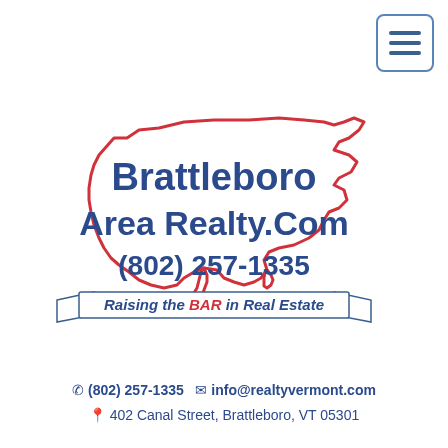[Figure (logo): Brattleboro Area Realty.Com logo with USA map outline in red, company name and phone number in dark blue, with banner 'Raising the BAR in Real Estate'. Hamburger menu icon in top right corner.]
✆ (802) 257-1335  ✉ info@realtyvermont.com  📍 402 Canal Street, Brattleboro, VT 05301